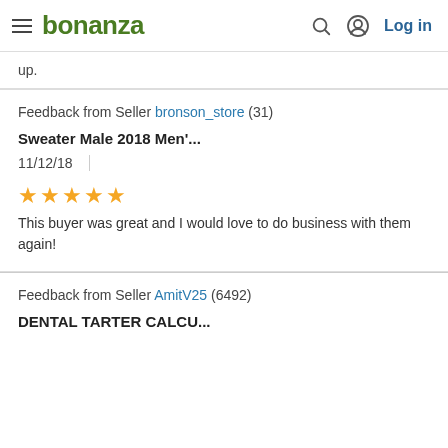bonanza | Log in
up.
Feedback from Seller bronson_store (31)
Sweater Male 2018 Men'...
11/12/18
★★★★★
This buyer was great and I would love to do business with them again!
Feedback from Seller AmitV25 (6492)
DENTAL TARTER CALCU...